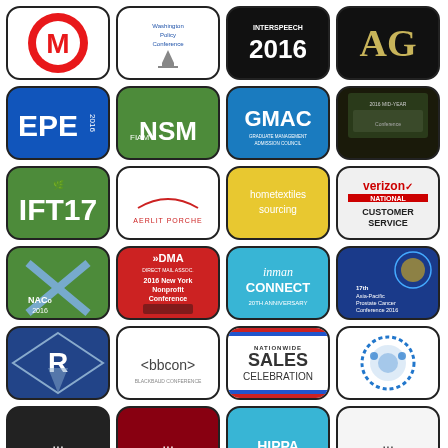[Figure (logo): M logo red circle with M letter]
[Figure (logo): Washington Policy Conference logo with capitol dome]
[Figure (logo): Interspeech 2016 logo black background]
[Figure (logo): AG logo black background gold letters]
[Figure (logo): EPE 2016 blue logo]
[Figure (logo): FIAM NSM green logo]
[Figure (logo): GMAC Graduate Management Admission Council]
[Figure (logo): 2016 Mid-Year dark photo logo]
[Figure (logo): IFT17 green logo]
[Figure (logo): Aerlitporche white logo]
[Figure (logo): Hometextiles Sourcing yellow logo]
[Figure (logo): Verizon National Customer Service logo]
[Figure (logo): NACo 2016 green logo]
[Figure (logo): DMA 2016 New York Nonprofit Conference red logo]
[Figure (logo): Inman Connect 20th Anniversary]
[Figure (logo): 17th Asia-Pacific Prostate Cancer Conference 2016]
[Figure (logo): R diamond pattern logo]
[Figure (logo): bbcon logo]
[Figure (logo): Nationwide Sales Celebration]
[Figure (logo): Blue dotted circle logo white background]
[Figure (logo): Partial tile row 6 tile 1]
[Figure (logo): Partial tile row 6 tile 2]
[Figure (logo): HIPPA partial logo]
[Figure (logo): Partial tile row 6 tile 4]